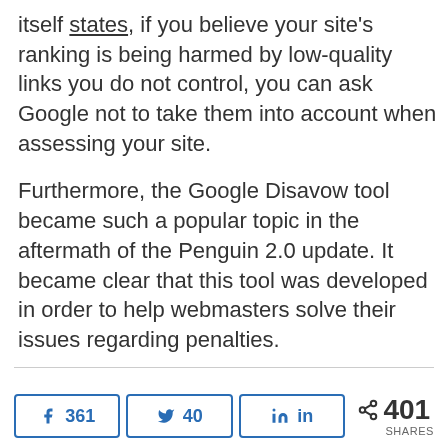itself states, if you believe your site's ranking is being harmed by low-quality links you do not control, you can ask Google not to take them into account when assessing your site.
Furthermore, the Google Disavow tool became such a popular topic in the aftermath of the Penguin 2.0 update. It became clear that this tool was developed in order to help webmasters solve their issues regarding penalties.
f 361   40   in   < 401 SHARES